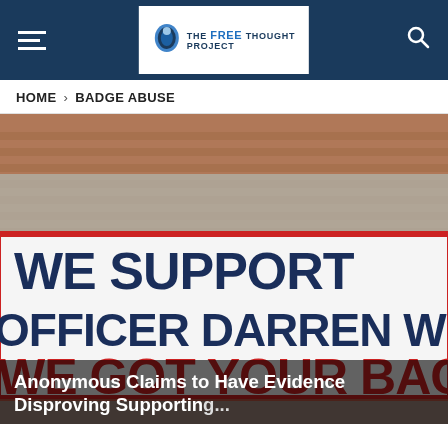THE FREE THOUGHT PROJECT
HOME > BADGE ABUSE
[Figure (photo): A white banner hung outside a brick building reading 'WE SUPPORT OFFICER DARREN WILSON WE GOT YOUR BACK' in large dark blue and red capital letters.]
Anonymous Claims to Have Evidence Disproving Supporting...